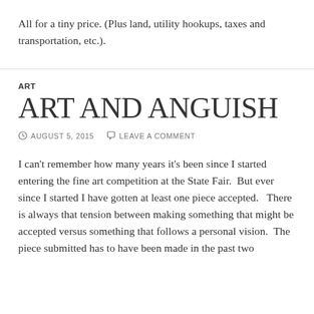All for a tiny price. (Plus land, utility hookups, taxes and transportation, etc.).
ART
ART AND ANGUISH
AUGUST 5, 2015   LEAVE A COMMENT
I can't remember how many years it's been since I started entering the fine art competition at the State Fair.   But ever since I started I have gotten at least one piece accepted.   There is always that tension between making something that might be accepted versus something that follows a personal vision.   The piece submitted has to have been made in the past two